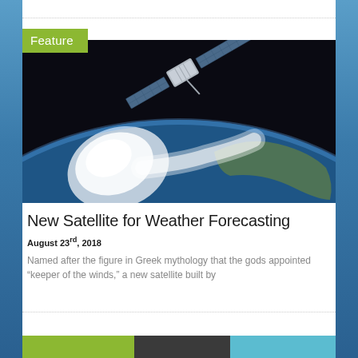[Figure (photo): Satellite orbiting above Earth with solar panels extended, showing cloud formations and ocean below. Green 'Feature' badge overlaid on top-left corner.]
New Satellite for Weather Forecasting
August 23rd, 2018
Named after the figure in Greek mythology that the gods appointed “keeper of the winds,” a new satellite built by